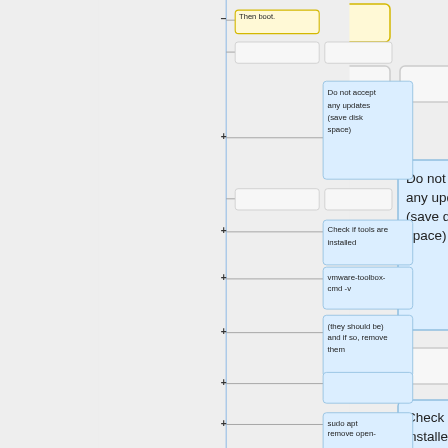[Figure (flowchart): Flowchart showing a sequence of installation steps: 'Then boot.' (yellow box), followed by two gray blank boxes, then 'Do not accept any updates (save disk space)' (blue box), two more gray boxes, 'Check if tools are installed' (blue box), 'vmware-toolbox-cmd -v' (blue box), '(they should be) and if so, remove them' (blue box), a blank blue box, then 'sudo apt remove open-' (blue box). Plus symbols indicate expandable nodes. A vertical blue line runs through the center connecting the flow.]